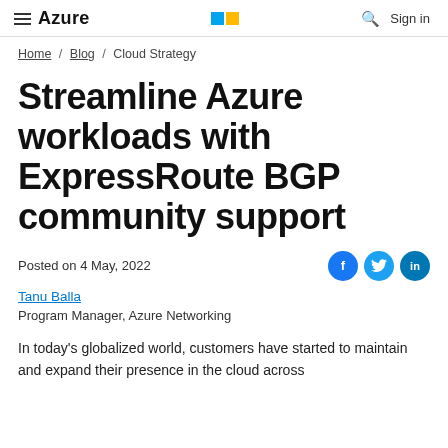Azure | Microsoft
Home / Blog / Cloud Strategy
Streamline Azure workloads with ExpressRoute BGP community support
Posted on 4 May, 2022
Tanu Balla
Program Manager, Azure Networking
In today's globalized world, customers have started to maintain and expand their presence in the cloud across